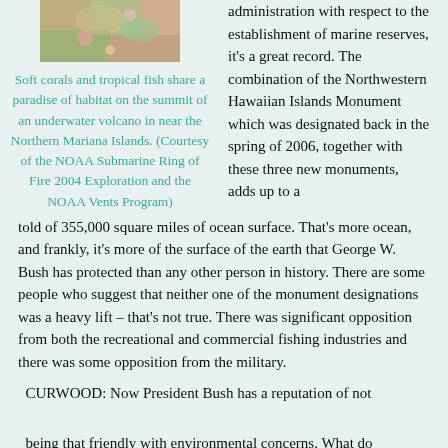[Figure (photo): Photo of soft corals and tropical fish on an underwater volcano]
Soft corals and tropical fish share a paradise of habitat on the summit of an underwater volcano in near the Northern Mariana Islands. (Courtesy of the NOAA Submarine Ring of Fire 2004 Exploration and the NOAA Vents Program)
administration with respect to the establishment of marine reserves, it's a great record. The combination of the Northwestern Hawaiian Islands Monument which was designated back in the spring of 2006, together with these three new monuments, adds up to a told of 355,000 square miles of ocean surface. That's more ocean, and frankly, it's more of the surface of the earth that George W. Bush has protected than any other person in history. There are some people who suggest that neither one of the monument designations was a heavy lift – that's not true. There was significant opposition from both the recreational and commercial fishing industries and there was some opposition from the military.
CURWOOD: Now President Bush has a reputation of not being that friendly with environmental concerns. What do you think makes the difference with him when it comes to